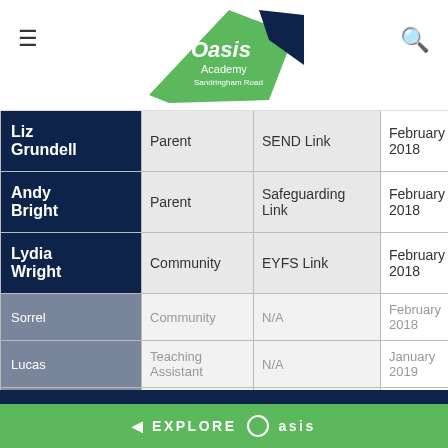[Figure (logo): Oasis Academy logo — green and dark blue angular badge shape]
| Name | Role | Link | Date |  |
| --- | --- | --- | --- | --- |
| Liz Grundell | Parent | SEND Link | February 2018 | F... 2... |
| Andy Bright | Parent | Safeguarding Link | February 2018 | F... 2... |
| Lydia Wright | Community | EYFS Link | February 2018 | F... 2... |
| Sorrel ... | Community | N/A | February 2018 | F... 2... |
| ... Lucas | Teaching Assistant | N/A | January 2019 | Ja... 2... |
| Jordan ... | Community | N/... | Janu... | J... |
We use cookies on this site to enhance your user experience. By using our site, you agree to our use of cookies. Learn more
◄ EXPLORE Oasis